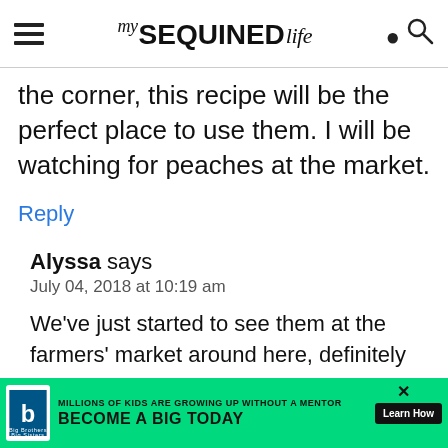my SEQUINED life
the corner, this recipe will be the perfect place to use them. I will be watching for peaches at the market.
Reply
Alyssa says
July 04, 2018 at 10:19 am
We've just started to see them at the farmers' market around here, definitely
[Figure (infographic): Big Brothers Big Sisters advertisement banner: green background with logo, text 'MILLIONS OF KIDS ARE GROWING UP WITHOUT A MENTOR. BECOME A BIG TODAY' and 'Learn How' button]